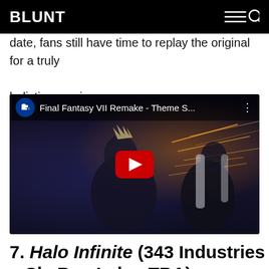BLUNT
date, fans still have time to replay the original for a truly holistic experience.
[Figure (screenshot): YouTube video embed showing Final Fantasy VII Remake - Theme S... with PlayStation channel icon, red play button, and a scene of two characters fighting]
7. Halo Infinite (343 Industries + SkyBox Labs, TBA)